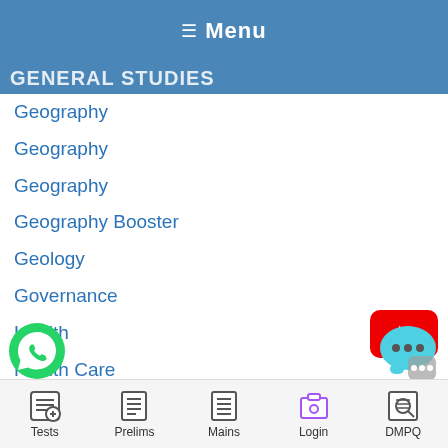Menu
GENERAL STUDIES
Geography
Geography
Geography
Geography Booster
Geology
Governance
Health
Health Care
HISTORY
History
History
[Figure (logo): YouTube play button red icon]
[Figure (logo): WhatsApp green phone icon]
[Figure (logo): Chat bubble icon]
Tests  Prelims  Mains  Login  DMPQ